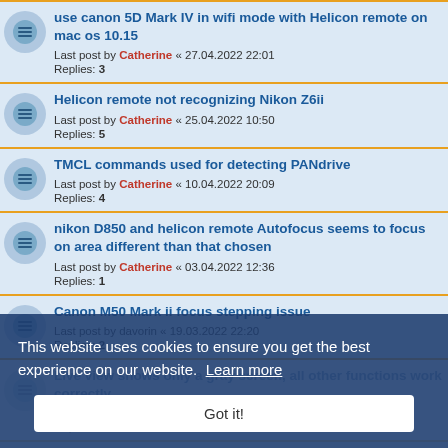use canon 5D Mark IV in wifi mode with Helicon remote on mac os 10.15
Last post by Catherine « 27.04.2022 22:01
Replies: 3
Helicon remote not recognizing Nikon Z6ii
Last post by Catherine « 25.04.2022 10:50
Replies: 5
TMCL commands used for detecting PANdrive
Last post by Catherine « 10.04.2022 20:09
Replies: 4
nikon D850 and helicon remote Autofocus seems to focus on area different than that chosen
Last post by Catherine « 03.04.2022 12:36
Replies: 1
Canon M50 Mark ii focus stepping issue
Last post by davorin « 19.03.2022 22:20
Replies: 2
Live view shows only a gray screen, all other functions work correctly
Last post by Catherine « 14.03.2022 15:25
Replies: 5
REMOTE BETA - Z9 - UPLOAD PRIORITY MODE ISSUE
Last post by RockvilleBob « 22.02.2022 17:39
Replies: 3
M43 future support
Last post by Catherine « 22.02.2022 17:24
Replies: 6
This website uses cookies to ensure you get the best experience on our website. Learn more
Got it!